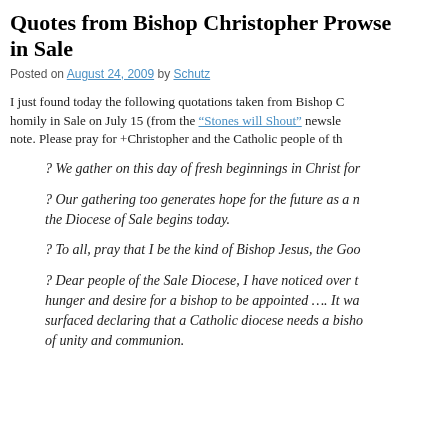Quotes from Bishop Christopher Prowse in Sale
Posted on August 24, 2009 by Schutz
I just found today the following quotations taken from Bishop C... homily in Sale on July 15 (from the “Stones will Shout” newsle... note. Please pray for +Christopher and the Catholic people of th...
? We gather on this day of fresh beginnings in Christ for...
? Our gathering too generates hope for the future as a n... the Diocese of Sale begins today.
? To all, pray that I be the kind of Bishop Jesus, the Goo...
? Dear people of the Sale Diocese, I have noticed over t... hunger and desire for a bishop to be appointed …. It wa... surfaced declaring that a Catholic diocese needs a bisho... of unity and communion.